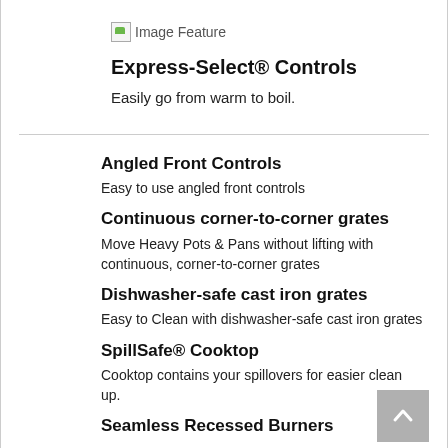[Figure (illustration): Broken image placeholder icon labeled 'Image Feature']
Express-Select® Controls
Easily go from warm to boil.
Angled Front Controls
Easy to use angled front controls
Continuous corner-to-corner grates
Move Heavy Pots & Pans without lifting with continuous, corner-to-corner grates
Dishwasher-safe cast iron grates
Easy to Clean with dishwasher-safe cast iron grates
SpillSafe® Cooktop
Cooktop contains your spillovers for easier clean up.
Seamless Recessed Burners